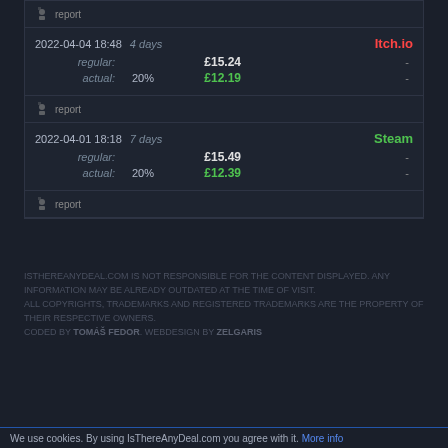| Date | Duration | Store | Regular Price | Discount | Actual Price | Extra |
| --- | --- | --- | --- | --- | --- | --- |
| 2022-04-04 18:48 | 4 days | Itch.io | £15.24 | 20% | £12.19 | - |
| 2022-04-01 18:18 | 7 days | Steam | £15.49 | 20% | £12.39 | - |
report
report
ISTHEREANYDEAL.COM IS NOT RESPONSIBLE FOR THE CONTENT DISPLAYED. ANY INFORMATION MAY BE ALREADY OUTDATED AT THE TIME OF VISIT. ALL COPYRIGHTS, TRADEMARKS AND REGISTERED TRADEMARKS ARE THE PROPERTY OF THEIR RESPECTIVE OWNERS. CODED BY TOMÁŠ FEDOR. WEBDESIGN BY ZELGARIS
We use cookies. By using IsThereAnyDeal.com you agree with it. More info